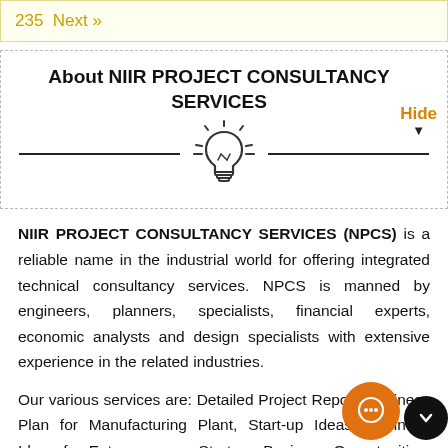235  Next »
About NIIR PROJECT CONSULTANCY SERVICES
[Figure (illustration): Light bulb icon with horizontal lines on each side forming a decorative divider]
NIIR PROJECT CONSULTANCY SERVICES (NPCS) is a reliable name in the industrial world for offering integrated technical consultancy services. NPCS is manned by engineers, planners, specialists, financial experts, economic analysts and design specialists with extensive experience in the related industries.
Our various services are: Detailed Project Report, Business Plan for Manufacturing Plant, Start-up Ideas, Business Ideas for Entrepreneurs, Start up Business Opportunities, entrepreneurial projects, Successful Business Plan, Industry Trends, Market Research, Manufacturing Process, Machinery, Raw Materials, project